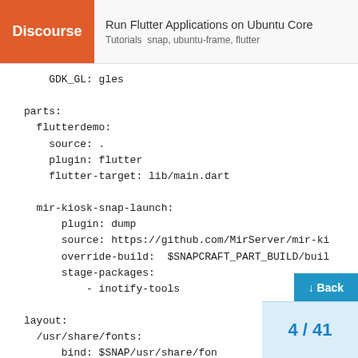Discourse | Run Flutter Applications on Ubuntu Core | Tutorials  snap, ubuntu-frame, flutter
GDK_GL: gles

parts:
  flutterdemo:
    source: .
    plugin: flutter
    flutter-target: lib/main.dart

  mir-kiosk-snap-launch:
      plugin: dump
      source: https://github.com/MirServer/mir-ki
      override-build:  $SNAPCRAFT_PART_BUILD/buil
      stage-packages:
          - inotify-tools

layout:
  /usr/share/fonts:
      bind: $SNAP/usr/share/fon
      /etc/fonts: